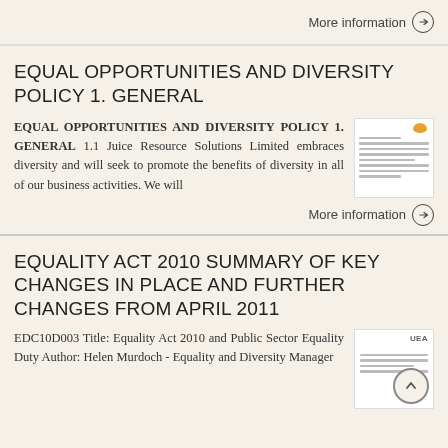More information →
EQUAL OPPORTUNITIES AND DIVERSITY POLICY 1. GENERAL
EQUAL OPPORTUNITIES AND DIVERSITY POLICY 1. GENERAL 1.1 Juice Resource Solutions Limited embraces diversity and will seek to promote the benefits of diversity in all of our business activities. We will
[Figure (illustration): Document thumbnail with orange dot icon and text lines]
More information →
EQUALITY ACT 2010 SUMMARY OF KEY CHANGES IN PLACE AND FURTHER CHANGES FROM APRIL 2011
EDC10D003 Title: Equality Act 2010 and Public Sector Equality Duty Author: Helen Murdoch - Equality and Diversity Manager
[Figure (illustration): Document thumbnail with UEA label and back-to-top arrow circle button]